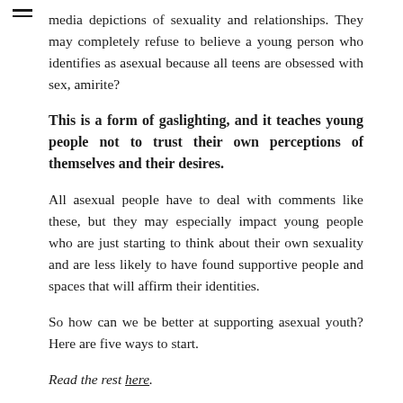media depictions of sexuality and relationships. They may completely refuse to believe a young person who identifies as asexual because all teens are obsessed with sex, amirite?
This is a form of gaslighting, and it teaches young people not to trust their own perceptions of themselves and their desires.
All asexual people have to deal with comments like these, but they may especially impact young people who are just starting to think about their own sexuality and are less likely to have found supportive people and spaces that will affirm their identities.
So how can we be better at supporting asexual youth? Here are five ways to start.
Read the rest here.